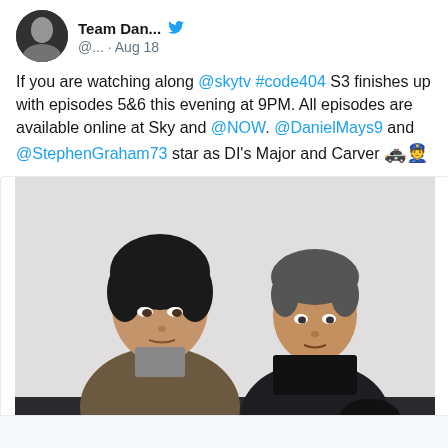[Figure (screenshot): Twitter/X profile avatar: black and white photo of a person in a coat]
Team Dan... @... · Aug 18
If you are watching along @skytv #code404 S3 finishes up with episodes 5&6 this evening at 9PM. All episodes are available online at Sky and @NOW. @DanielMays9 and @StephenGraham73 star as DI's Major and Carver 🚓👮
[Figure (photo): Two men sitting on a sofa. Left man has dark curly hair and wears a brownish jacket. Right man wears a dark jacket. Background is plain white/grey.]
1  11